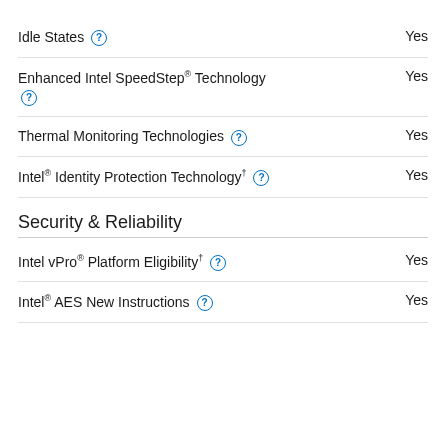Idle States  Yes
Enhanced Intel SpeedStep® Technology  Yes
Thermal Monitoring Technologies  Yes
Intel® Identity Protection Technology †  Yes
Security & Reliability
Intel vPro® Platform Eligibility †  Yes
Intel® AES New Instructions  Yes